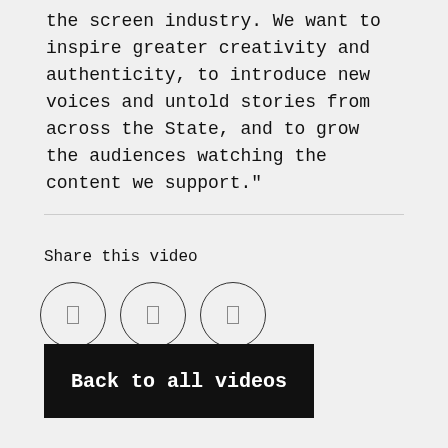the screen industry. We want to inspire greater creativity and authenticity, to introduce new voices and untold stories from across the State, and to grow the audiences watching the content we support."
Share this video
[Figure (other): Three circular social media share icon buttons in a row]
Back to all videos